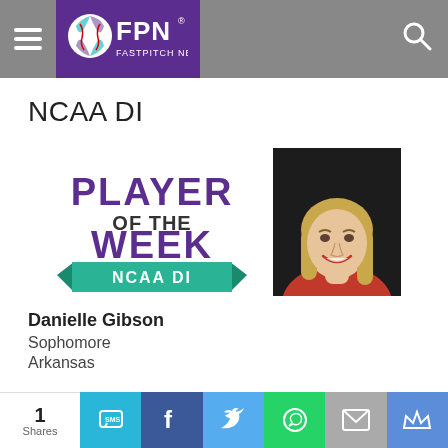FPN Fastpitch News
NCAA DI
[Figure (photo): Player of the Week NCAA DI badge logo in purple and green]
[Figure (photo): Headshot photo of Danielle Gibson, smiling blonde woman in red top against dark background]
Danielle Gibson
Sophomore
Arkansas